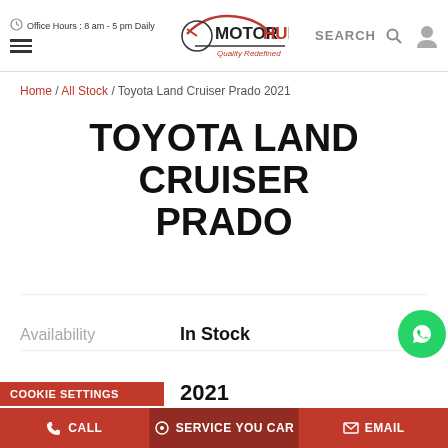Office Hours : 8 am - 5 pm Daily | MOTORHUB Quality Redefined | SEARCH
Home / All Stock / Toyota Land Cruiser Prado 2021
TOYOTA LAND CRUISER PRADO
| Field | Value |
| --- | --- |
| Product Id | MTH2038 |
| Availability | In Stock |
| Year | 2021 |
COOKIE SETTINGS
CALL | SERVICE YOU CAR | EMAIL